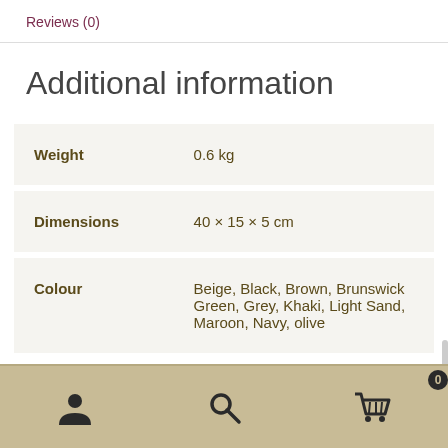Reviews (0)
Additional information
| Weight | 0.6 kg |
| Dimensions | 40 × 15 × 5 cm |
| Colour | Beige, Black, Brown, Brunswick Green, Grey, Khaki, Light Sand, Maroon, Navy, olive |
Navigation bar with user, search, and cart (0) icons